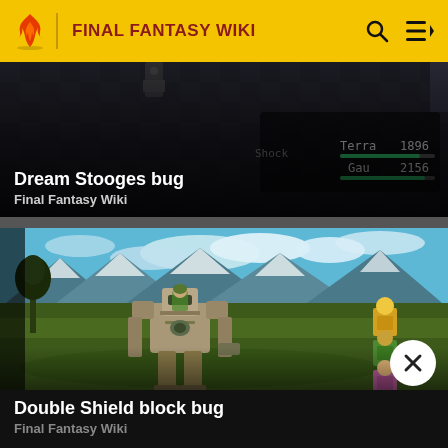FINAL FANTASY WIKI
[Figure (screenshot): Final Fantasy VI battle screenshot showing Dream Stooges bug with character stats: Terra 1896, Gau 2156]
Dream Stooges bug
Final Fantasy Wiki
[Figure (screenshot): Final Fantasy VI field screenshot showing a large mech/robot enemy facing party characters on a grassy plain with mountain background]
Double Shield block bug
Final Fantasy Wiki